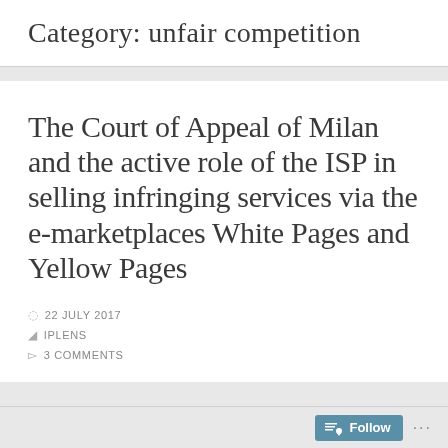Category: unfair competition
The Court of Appeal of Milan and the active role of the ISP in selling infringing services via the e-marketplaces White Pages and Yellow Pages
22 JULY 2017
IPLENS
3 COMMENTS
Follow